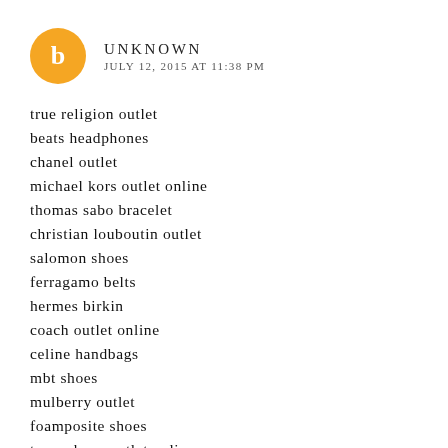UNKNOWN
JULY 12, 2015 AT 11:38 PM
true religion outlet
beats headphones
chanel outlet
michael kors outlet online
thomas sabo bracelet
christian louboutin outlet
salomon shoes
ferragamo belts
hermes birkin
coach outlet online
celine handbags
mbt shoes
mulberry outlet
foamposite shoes
toms shoes outlet online
kate spade outlet